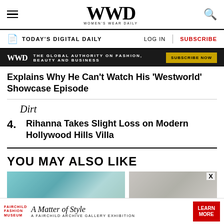WWD WOMEN'S WEAR DAILY
TODAY'S DIGITAL DAILY   LOG IN   SUBSCRIBE
[Figure (screenshot): WWD dark ad banner: THE GLOBAL AUTHORITY ON FASHION, BEAUTY AND BUSINESS — SUBSCRIBE NOW button]
Explains Why He Can't Watch His 'Westworld' Showcase Episode
Dirt
4. Rihanna Takes Slight Loss on Modern Hollywood Hills Villa
YOU MAY ALSO LIKE
[Figure (photo): Teal/blue image thumbnail on the left]
[Figure (photo): Gray/beige image thumbnail on the right with X close button]
[Figure (screenshot): Bottom ad: Fairchild Fashion Museum — A Matter of Style, A Fairchild Archive Gallery Exhibition — LEARN MORE button]